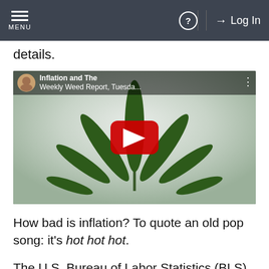MENU | ? | Log In
details.
[Figure (screenshot): YouTube video thumbnail showing a cannabis leaf with video title 'Inflation and The Weekly Weed Report, Tuesda...' and a red play button in the center. A user avatar is visible in the top-left of the video overlay.]
How bad is inflation? To quote an old pop song: it's hot hot hot.
The U.S. Bureau of Labor Statistics (BLS)